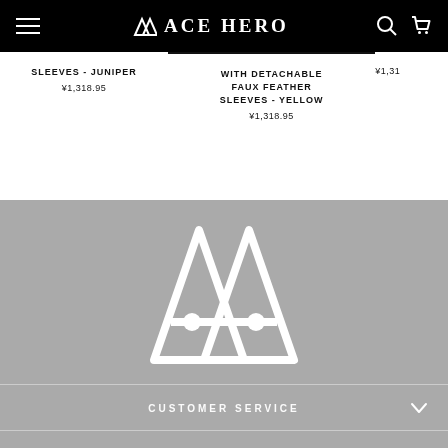ACE HERO - navigation bar with hamburger menu, logo, search and cart icons
SLEEVES - JUNIPER
¥1,318.95
WITH DETACHABLE FAUX FEATHER SLEEVES - YELLOW
¥1,318.95
¥1,31
[Figure (logo): ACE HERO large white AA mountain logo on gray background]
CUSTOMER SERVICE
ORDER